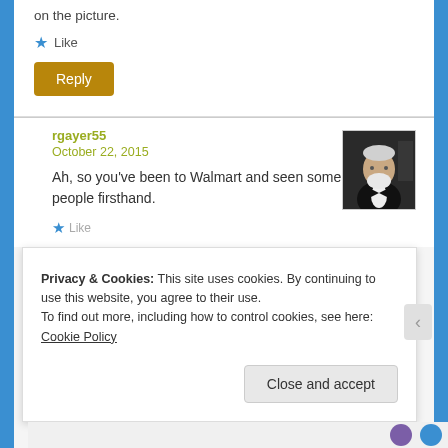on the picture.
★ Like
Reply
rgayer55
October 22, 2015
[Figure (photo): Avatar photo of user rgayer55 — older man with white beard wearing dark suit/tuxedo]
Ah, so you've been to Walmart and seen some of these people firsthand.
Privacy & Cookies: This site uses cookies. By continuing to use this website, you agree to their use.
To find out more, including how to control cookies, see here: Cookie Policy
Close and accept